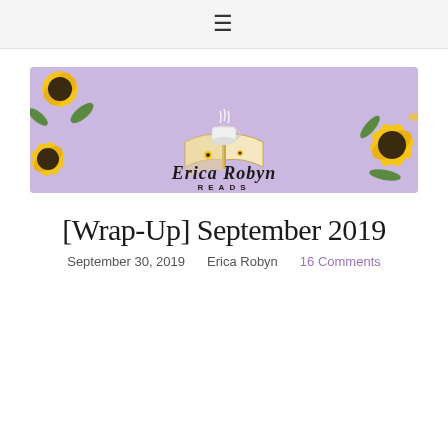≡
[Figure (logo): Erica Robyn Reads banner logo: lavender background with sunflowers in corners, an open book with a teacup in the center, and script text reading 'Erica Robyn READS']
[Wrap-Up] September 2019
September 30, 2019    Erica Robyn    16 Comments